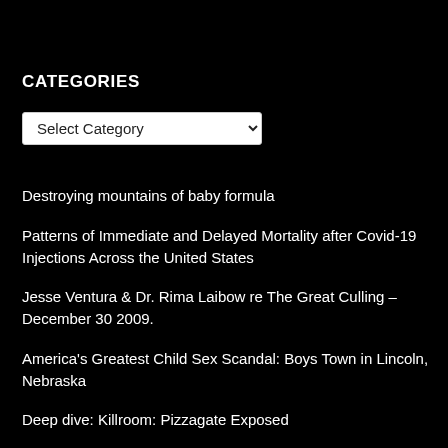CATEGORIES
Select Category
Destroying mountains of baby formula
Patterns of Immediate and Delayed Mortality after Covid-19 Injections Across the United States
Jesse Ventura & Dr. Rima Laibow re The Great Culling – December 30 2009.
America's Greatest Child Sex Scandal: Boys Town in Lincoln, Nebraska
Deep dive: Killroom: Pizzagate Exposed
Are we are trapped inside a global psychological warfare game?
Hijacking Science, Includes Covid "Vaccine" Bullet Points…